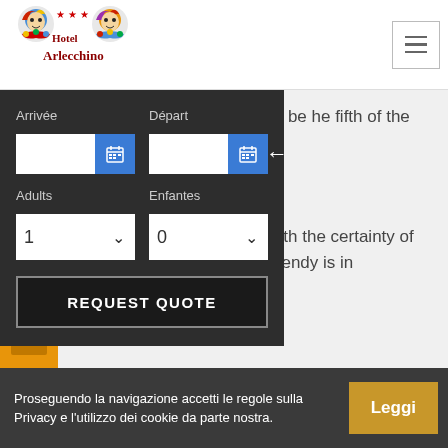[Figure (logo): Hotel Arlecchino logo with jester figures and three red stars]
of worship and for go to bed, " you'll be he fifth of the night ntrated on the Adriatic ppreciation of continue to choose fun holidays on the Adriatic coast with the certainty of finding the most new, original and trendy is in circulation, both
Arrivée
Départ
Adults
Enfantes
REQUEST QUOTE
Proseguendo la navigazione accetti le regole sulla Privacy e l'utilizzo dei cookie da parte nostra.
Leggi